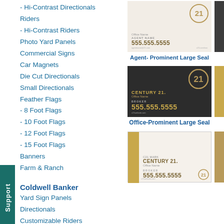- Hi-Contrast Directionals
Riders
- Hi-Contrast Riders
Photo Yard Panels
Commercial Signs
Car Magnets
Die Cut Directionals
Small Directionals
Feather Flags
- 8 Foot Flags
- 10 Foot Flags
- 12 Foot Flags
- 15 Foot Flags
Banners
Farm & Ranch
Coldwell Banker
Yard Sign Panels
Directionals
Customizable Riders
Stock Riders
Agent Photo Yard Signs
Car Magnetics
[Figure (photo): Century 21 Agent-Prominent Large Seal yard sign panel mockup showing office name, agent name, phone number 555.555.5555, and C21 circle logo]
Agent- Prominent Large Seal
[Figure (photo): Century 21 Office-Prominent Large Seal yard sign panel mockup in dark background with gold text showing CENTURY 21, Office Name, BROKER, phone 555.555.5555]
Office-Prominent Large Seal
[Figure (photo): Century 21 yard sign panel mockup with gold vertical stripe on left side, CENTURY 21 Office Name, BROKER, phone 555.555.5555]